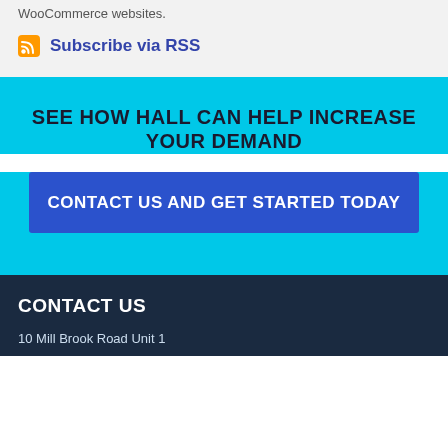WooCommerce websites.
Subscribe via RSS
SEE HOW HALL CAN HELP INCREASE YOUR DEMAND
CONTACT US AND GET STARTED TODAY
CONTACT US
10 Mill Brook Road Unit 1